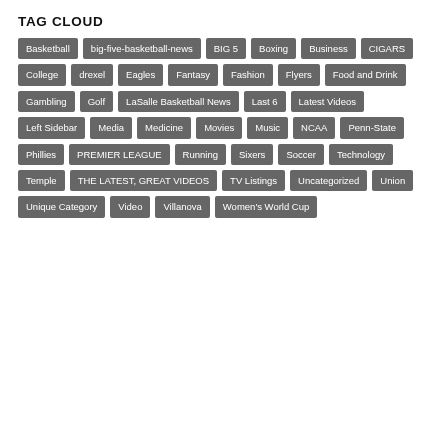TAG CLOUD
Basketball
big-five-basketball-news
BIG 5
Boxing
Business
CIGARS
College
drexel
Eagles
Fantasy
Fashion
Flyers
Food and Drink
Gambling
Golf
LaSalle Basketball News
Last 6
Latest Videos
Left Sidebar
Media
Medicine
Movies
Music
NCAA
Penn-State
Phillies
PREMIER LEAGUE
Running
Sixers
Soccer
Technology
Temple
THE LATEST, GREAT VIDEOS
TV Listings
Uncategorized
Union
Unique Category
Video
Villanova
Women's World Cup